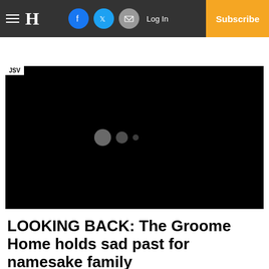H | Log In | Subscribe
[Figure (screenshot): Black video player area with JSV badge in top-left corner and three loading dots in the center]
LOOKING BACK: The Groome Home holds sad past for namesake family
Published 8:00 am Wednesday, June 15, 2022